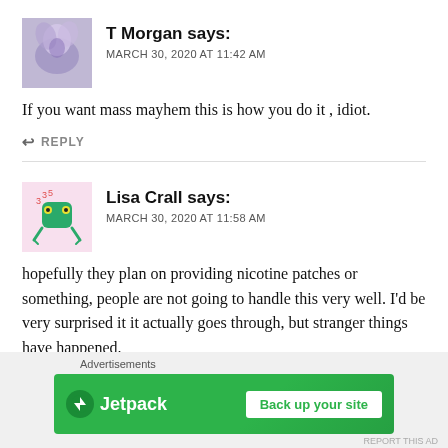[Figure (photo): Avatar photo of T Morgan, purple/blue floral abstract image]
T Morgan says:
MARCH 30, 2020 AT 11:42 AM
If you want mass mayhem this is how you do it , idiot.
↩ REPLY
[Figure (illustration): Avatar illustration of Lisa Crall, cartoon green character on pink background]
Lisa Crall says:
MARCH 30, 2020 AT 11:58 AM
hopefully they plan on providing nicotine patches or something, people are not going to handle this very well. I'd be very surprised it it actually goes through, but stranger things have happened.
Advertisements
[Figure (screenshot): Jetpack advertisement banner: green background with Jetpack logo and 'Back up your site' button]